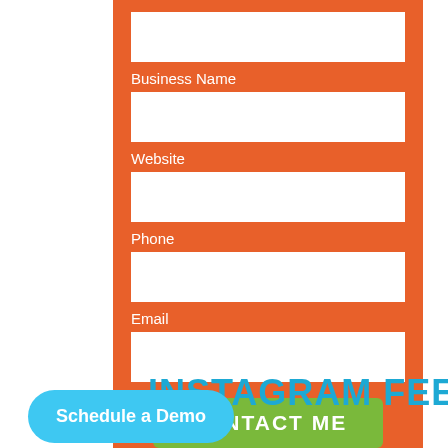[Figure (screenshot): Orange contact form with fields for Business Name, Website, Phone, Email, and a green CONTACT ME button]
Business Name
Website
Phone
Email
CONTACT ME
INSTAGRAM FEED
Schedule a Demo